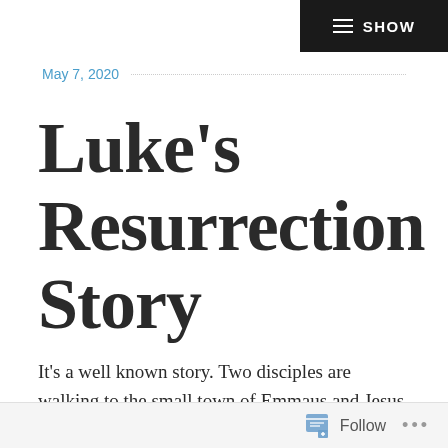SHOW
May 7, 2020
Luke’s Resurrection Story
It’s a well known story. Two disciples are walking to the small town of Emmaus and Jesus appears
Follow ...